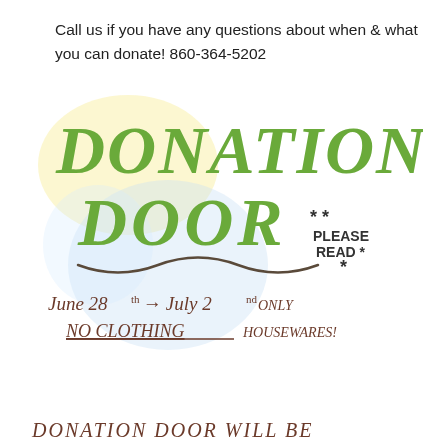Call us if you have any questions about when & what you can donate! 860-364-5202
[Figure (photo): Handwritten sign reading 'DONATION DOOR' in large green marker letters with '* PLEASE READ *' beside it, a wavy underline, followed by handwritten text: 'June 28th → July 2nd ONLY NO CLOTHING Housewares!' on a white background with light yellow and blue watercolor blotches]
DONATION DOOR WILL BE